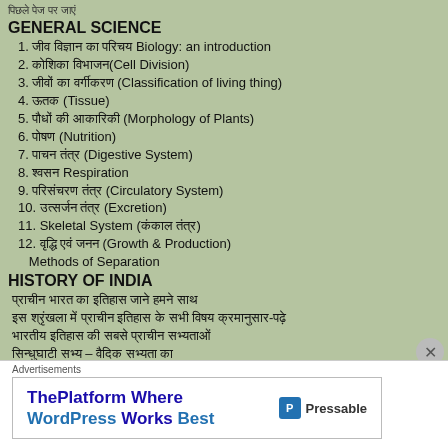पिछले पेज पर जाएं
GENERAL SCIENCE
1. जीव विज्ञान का परिचय Biology: an introduction
2. कोशिका विभाजन(Cell Division)
3. जीवों का वर्गीकरण (Classification of living thing)
4. ऊतक (Tissue)
5. पौधों की आकारिकी (Morphology of Plants)
6. पोषण (Nutrition)
7. पाचन तंत्र (Digestive System)
8. श्वसन Respiration
9. परिसंचरण तंत्र (Circulatory System)
10. उत्सर्जन तंत्र (Excretion)
11. Skeletal System (कंकाल तंत्र)
12. वृद्धि एवं जनन (Growth & Production)
Methods of Separation
HISTORY OF INDIA
प्राचीन भारत का इतिहास जाने हमने साथ
इस श्रृंखला में प्राचीन इतिहास के सभी विषय क्रमानुसार-पढ़े
भारतीय इतिहास की सबसे प्राचीन सभ्यताओं
सिन्धुघाटी सभ्य – वैदिक सभ्यता का
प्राचीन भारत का इतिहास महाजनपद  सामान्य ज्ञान के लिए